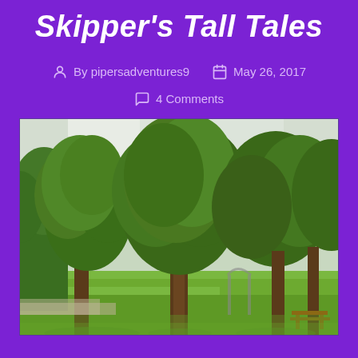Skipper's Tall Tales
By pipersadventures9   May 26, 2017
4 Comments
[Figure (photo): Outdoor park scene with large green deciduous trees on a bright day, green lawn in foreground, picnic bench visible on right side, overcast sky visible through tree canopy]